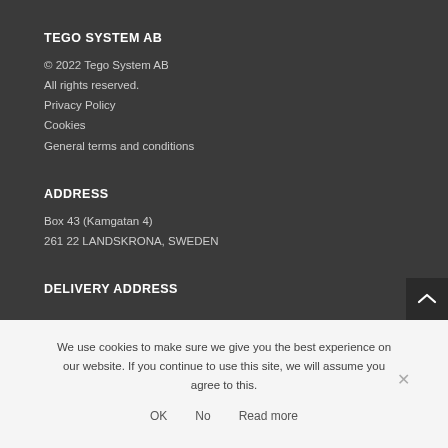TEGO SYSTEM AB
© 2022 Tego System AB
All rights reserved.
Privacy Policy
Cookies
General terms and conditions
ADDRESS
Box 43 (Kamgatan 4)
261 22 LANDSKRONA, SWEDEN
DELIVERY ADDRESS
We use cookies to make sure we give you the best experience on our website. If you continue to use this site, we will assume you agree to this.
OK   No   Read more